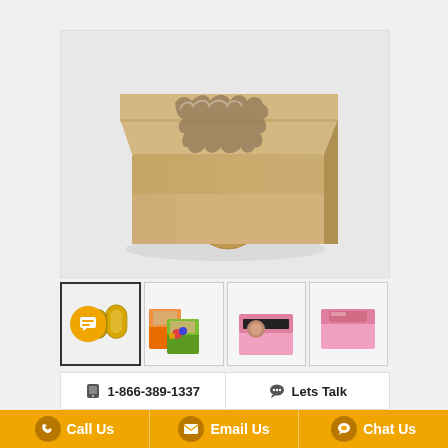[Figure (photo): Main product photo of a kraft brown cardboard box with a decorative wavy transparent window on the lid, shown at an angle on a white/grey background.]
[Figure (photo): Thumbnail 1 (active/selected): Chat bubble icon overlay on top of an image of gold/metallic cylindrical packaging boxes.]
[Figure (photo): Thumbnail 2: Orange and green bakery window boxes with candy/treats visible inside.]
[Figure (photo): Thumbnail 3: Pink and black rectangular window bakery box.]
[Figure (photo): Thumbnail 4: Pink bakery box with transparent window lid, shown closed.]
1-866-389-1337
Lets Talk
Call Us
Email Us
Chat Us